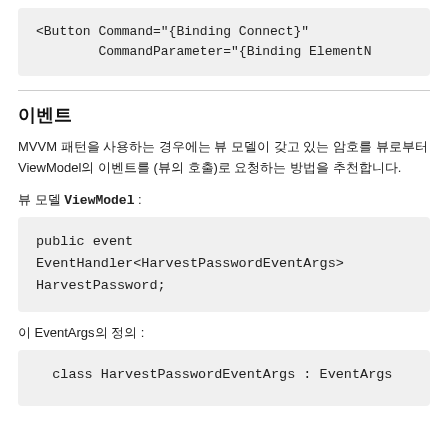[Figure (screenshot): Code block showing: <Button Command="{Binding Connect}" CommandParameter="{Binding ElementN]
이벤트
MVVM 패턴을 사용하는 경우에는 뷰 모델이 갖고 있는 암호를 뷰로부터 ViewModel의 이벤트를 (뷰의 호출)로 요청하는 방법을 추천합니다.
뷰 모델 ViewModel :
[Figure (screenshot): Code block showing: public event EventHandler<HarvestPasswordEventArgs> HarvestPassword;]
이 EventArgs의 정의 :
[Figure (screenshot): Code block showing: class HarvestPasswordEventArgs : EventArgs]